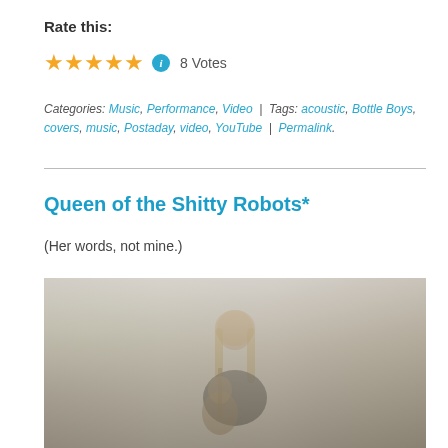Rate this:
★★★★★ ℹ 8 Votes
Categories: Music, Performance, Video | Tags: acoustic, Bottle Boys, covers, music, Postaday, video, YouTube | Permalink.
Queen of the Shitty Robots*
(Her words, not mine.)
[Figure (photo): Photo of a young woman with long blonde hair sitting and playing a guitar near a window, viewed from above/side angle. Background shows a light-colored wall and window with trees visible outside.]